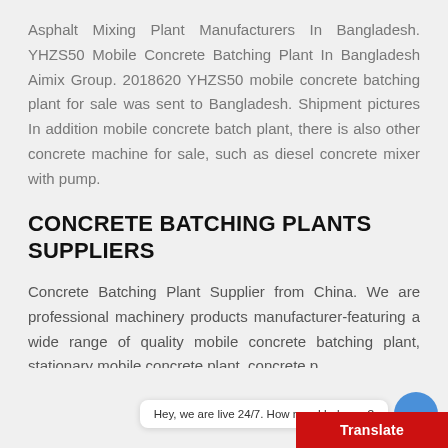Asphalt Mixing Plant Manufacturers In Bangladesh. YHZS50 Mobile Concrete Batching Plant In Bangladesh Aimix Group. 2018620 YHZS50 mobile concrete batching plant for sale was sent to Bangladesh. Shipment pictures In addition mobile concrete batch plant, there is also other concrete machine for sale, such as diesel concrete mixer with pump.
CONCRETE BATCHING PLANTS SUPPLIERS
Concrete Batching Plant Supplier from China. We are professional machinery products manufacturer-featuring a wide range of quality mobile concrete batching plant, stationary mobile concrete plant, concrete p…